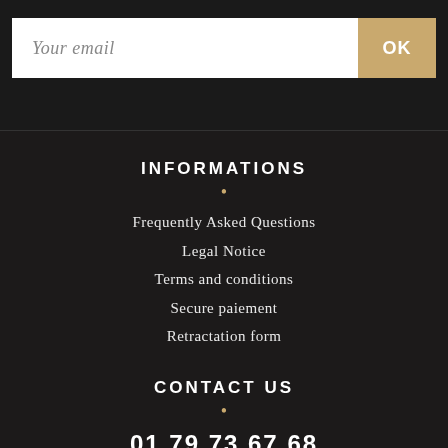Your email
OK
INFORMATIONS
Frequently Asked Questions
Legal Notice
Terms and conditions
Secure paiement
Retractation form
CONTACT US
01 79 73 67 68